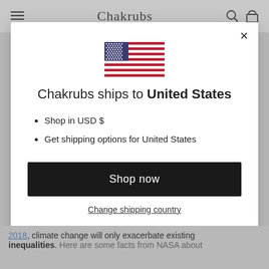Chakrubs
[Figure (illustration): US flag icon displayed in modal dialog]
Chakrubs ships to United States
Shop in USD $
Get shipping options for United States
Shop now
Change shipping country
2018, climate change will only exacerbate existing inequalities. Here are some facts from NASA about